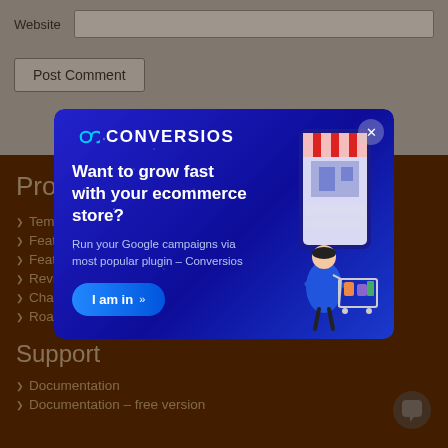Website [input field]
Post Comment
Pro
Temp
Featu
Featu
Revie
Chan
Roadmap
Support
Documentation
Documentation – free version
[Figure (screenshot): Conversios popup modal with infinity logo, headline 'Want to grow fast with your ecommerce store?', subtext 'Run your Google campaigns via most popular plugin – Conversios', blue 'I am in' button with arrows, ecommerce illustration on right, close X button top right]